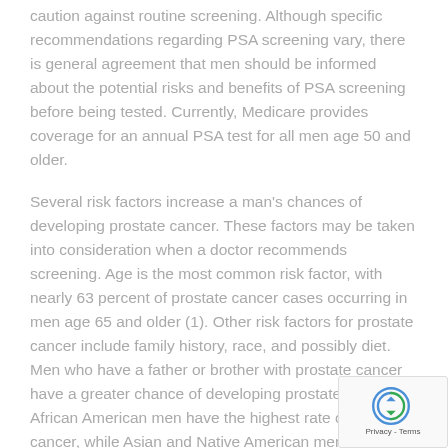caution against routine screening. Although specific recommendations regarding PSA screening vary, there is general agreement that men should be informed about the potential risks and benefits of PSA screening before being tested. Currently, Medicare provides coverage for an annual PSA test for all men age 50 and older.
Several risk factors increase a man's chances of developing prostate cancer. These factors may be taken into consideration when a doctor recommends screening. Age is the most common risk factor, with nearly 63 percent of prostate cancer cases occurring in men age 65 and older (1). Other risk factors for prostate cancer include family history, race, and possibly diet. Men who have a father or brother with prostate cancer have a greater chance of developing prostate cancer. African American men have the highest rate of prostate cancer, while Asian and Native American men have the lowest rates. In addition, there is some evidence that a